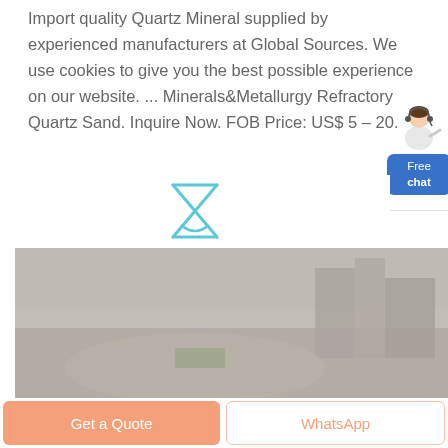Import quality Quartz Mineral supplied by experienced manufacturers at Global Sources. We use cookies to give you the best possible experience on our website. ... Minerals&Metallurgy Refractory Quartz Sand. Inquire Now. FOB Price: US$ 5 – 20.
[Figure (illustration): Hourglass/loading icon in light blue outline style, centered on white background]
[Figure (photo): Photo of an industrial or mining site with machinery and rubble, shown with a grayish overlay. A small chat agent figure and blue Free chat button appear in the top right corner.]
Get a Quote
WhatsApp